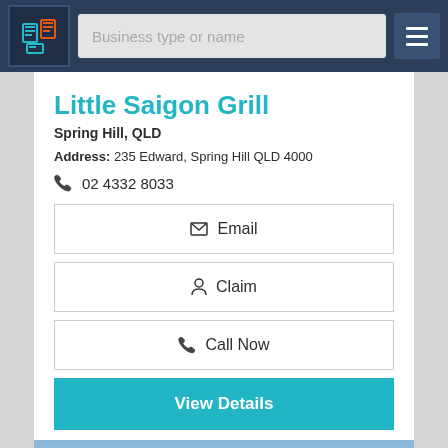Business type or name
Little Saigon Grill
Spring Hill, QLD
Address: 235 Edward, Spring Hill QLD 4000
02 4332 8033
Email
Claim
Call Now
View Details
[Figure (photo): Exterior photo of a building with BATEAU BAY CELLARS signage and advertising banners on the facade]